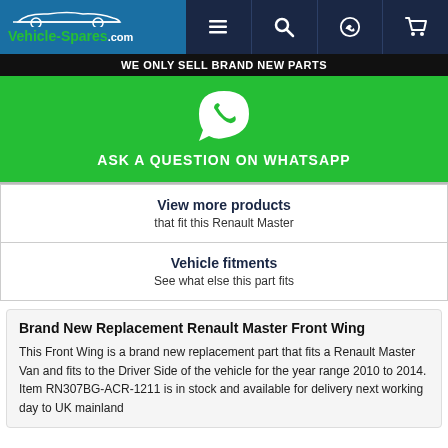[Figure (logo): Vehicle-Spares.com logo with car silhouette and navigation icons (hamburger menu, search, WhatsApp, cart)]
WE ONLY SELL BRAND NEW PARTS
[Figure (other): WhatsApp phone icon in white on green background with text ASK A QUESTION ON WHATSAPP]
View more products
that fit this Renault Master
Vehicle fitments
See what else this part fits
Brand New Replacement Renault Master Front Wing
This Front Wing is a brand new replacement part that fits a Renault Master Van and fits to the Driver Side of the vehicle for the year range 2010 to 2014. Item RN307BG-ACR-1211 is in stock and available for delivery next working day to UK mainland